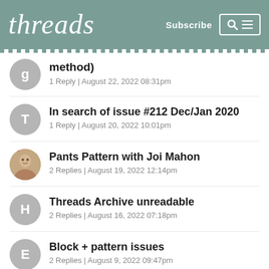threads | Subscribe
method)
1 Reply | August 22, 2022 08:31pm
In search of issue #212 Dec/Jan 2020
1 Reply | August 20, 2022 10:01pm
Pants Pattern with Joi Mahon
2 Replies | August 19, 2022 12:14pm
Threads Archive unreadable
2 Replies | August 16, 2022 07:18pm
Block + pattern issues
2 Replies | August 9, 2022 09:47pm